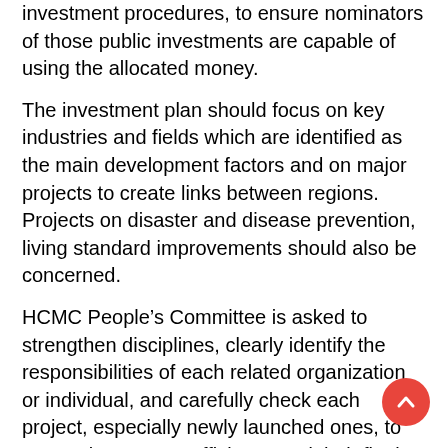investment procedures, to ensure nominators of those public investments are capable of using the allocated money.
The investment plan should focus on key industries and fields which are identified as the main development factors and on major projects to create links between regions. Projects on disaster and disease prevention, living standard improvements should also be concerned.
HCMC People's Committee is asked to strengthen disciplines, clearly identify the responsibilities of each related organization or individual, and carefully check each project, especially newly launched ones, to ensure investment efficiency and their final outputs.
Vice Chairman of HCMC People's Committee Vo Van Hoan yesterday delivered the proposal of HCMC People's Committee about the medium-term public investment estimate for 2021-2025 in HCMC.
The proposal stated that the medium-term public investment will take VND6,957 billion (approx. US$302.4 million) and VND6,968 billion ($302.9 million) from the domestic and